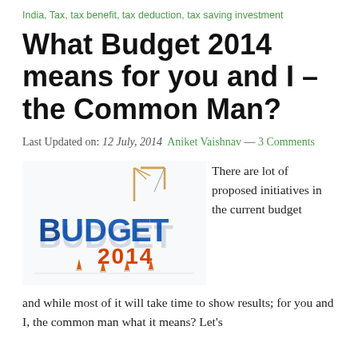India, Tax, tax benefit, tax deduction, tax saving investment
What Budget 2014 means for you and I – the Common Man?
Last Updated on: 12 July, 2014  Aniket Vaishnav — 3 Comments
[Figure (illustration): 3D blue bold text reading BUDGET 2014 with a construction crane on top, set against a white background with small orange traffic cones at the base]
There are lot of proposed initiatives in the current budget and while most of it will take time to show results; for you and I, the common man what it means? Let's